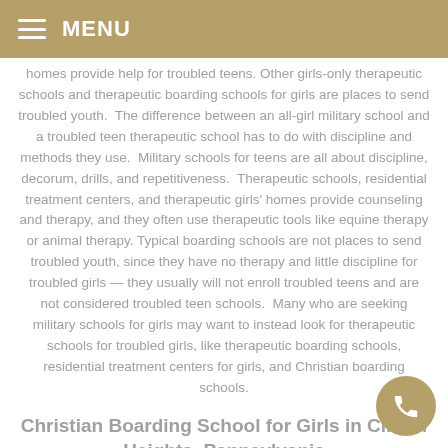MENU
homes provide help for troubled teens. Other girls-only therapeutic schools and therapeutic boarding schools for girls are places to send troubled youth. The difference between an all-girl military school and a troubled teen therapeutic school has to do with discipline and methods they use. Military schools for teens are all about discipline, decorum, drills, and repetitiveness. Therapeutic schools, residential treatment centers, and therapeutic girls' homes provide counseling and therapy, and they often use therapeutic tools like equine therapy or animal therapy. Typical boarding schools are not places to send troubled youth, since they have no therapy and little discipline for troubled girls — they usually will not enroll troubled teens and are not considered troubled teen schools. Many who are seeking military schools for girls may want to instead look for therapeutic schools for troubled girls, like therapeutic boarding schools, residential treatment centers for girls, and Christian boarding schools.
Christian Boarding School for Girls in Clifton Heights, Pennsylvania
Christian boarding schools for girls in Clifton Heights, Pennsylvania -- See a great option for your girl.